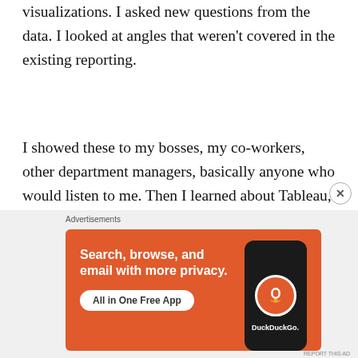visualizations. I asked new questions from the data. I looked at angles that weren't covered in the existing reporting.
I showed these to my bosses, my co-workers, other department managers, basically anyone who would listen to me. Then I learned about Tableau, and using its free version I was able to create some more professional looking visualizations.
I was able to share the ideas I found from the data in
[Figure (screenshot): DuckDuckGo advertisement banner with orange background. Text reads: 'Search, browse, and email with more privacy. All in One Free App' with a phone showing the DuckDuckGo logo.]